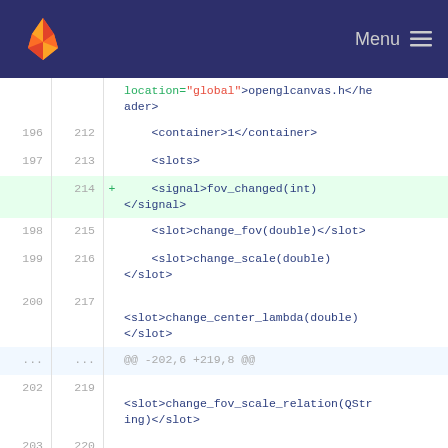GitLab — Menu
location="global">openglcanvas.h</header>
196 212     <container>1</container>
197 213     <slots>
214 +  <signal>fov_changed(int)</signal>  [added line]
198 215     <slot>change_fov(double)</slot>
199 216     <slot>change_scale(double)</slot>
200 217     
    <slot>change_center_lambda(double)</slot>
... ...  @@ -202,6 +219,8 @@
202 219     
    <slot>change_fov_scale_relation(QString)</slot>
203 220     
    <slot>change_visualization(QString)</slot>
204 221     <slot>change_input_image()